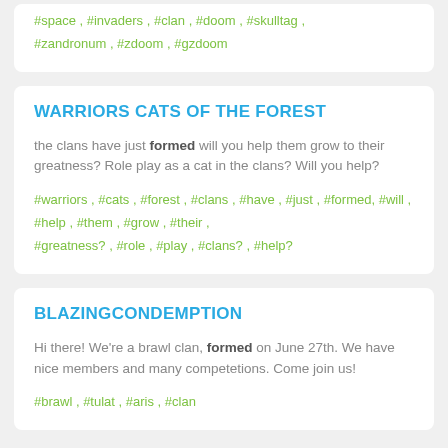#space , #invaders , #clan , #doom , #skulltag , #zandronum , #zdoom , #gzdoom
WARRIORS CATS OF THE FOREST
the clans have just formed will you help them grow to their greatness? Role play as a cat in the clans? Will you help?
#warriors , #cats , #forest , #clans , #have , #just , #formed, #will , #help , #them , #grow , #their , #greatness? , #role , #play , #clans? , #help?
BLAZINGCONDEMPTION
Hi there! We're a brawl clan, formed on June 27th. We have nice members and many competetions. Come join us!
#brawl , #tulat , #aris , #clan